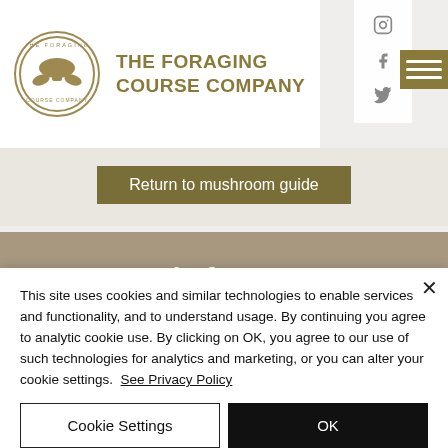THE FORAGING COURSE COMPANY
Return to mushroom guide
Main features
Found on living, dead or dying Oak or Sweet Chestnut
This site uses cookies and similar technologies to enable services and functionality, and to understand usage. By continuing you agree to analytic cookie use. By clicking on OK, you agree to our use of such technologies for analytics and marketing, or you can alter your cookie settings.  See Privacy Policy